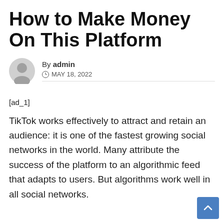How to Make Money On This Platform
By admin
© MAY 18, 2022
[ad_1]
TikTok works effectively to attract and retain an audience: it is one of the fastest growing social networks in the world. Many attribute the success of the platform to an algorithmic feed that adapts to users. But algorithms work well in all social networks.